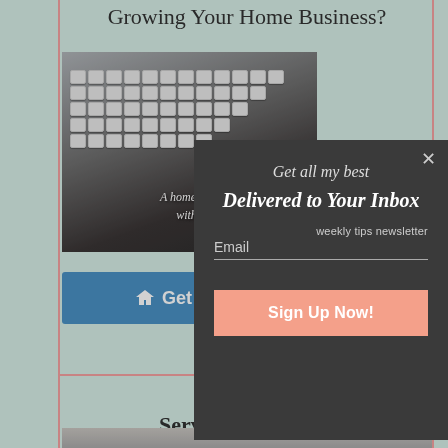Growing Your Home Business?
[Figure (photo): Keyboard and office items on dark wood desk with italic white text overlay reading 'A home busi... witho...']
A home busi... witho...
Get H...
Interested... Services Provider?
[Figure (photo): Bottom of page showing table legs or chair on light surface]
[Figure (screenshot): Modal popup on dark gray background with text: Get all my best / Delivered to Your Inbox / weekly tips newsletter / Email / Sign Up Now! button in salmon pink]